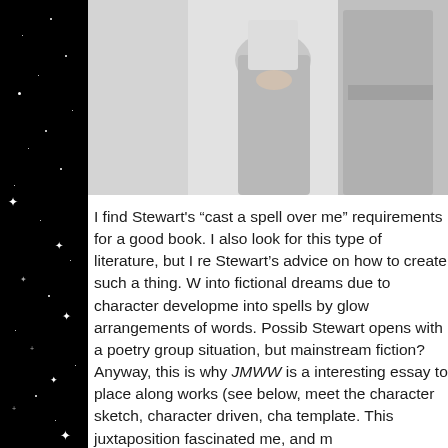[Figure (photo): Black and white photograph showing two figures, cropped at waist level. Left figure appears to be a woman in a long skirt with hands clasped. Right figure appears to be a person in a coat.]
I find Stewart's “cast a spell over me” requirements for a good book. I also look for this type of literature, but I re Stewart’s advice on how to create such a thing. W into fictional dreams due to character developme into spells by glow arrangements of words. Possib Stewart opens with a poetry group situation, but mainstream fiction? Anyway, this is why JMWW is a interesting essay to place along works (see below, meet the character sketch, character driven, cha template. This juxtaposition fascinated me, and m